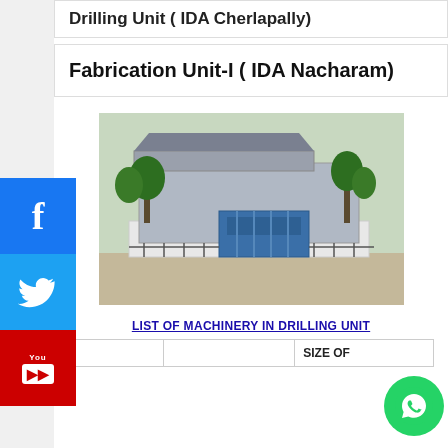Drilling Unit ( IDA Cherlapally)
Fabrication Unit-I ( IDA Nacharam)
[Figure (photo): Exterior photo of Fabrication Unit-I at IDA Nacharam showing an industrial building with blue gate, white compound wall, and trees in foreground on a dirt road.]
LIST OF MACHINERY IN DRILLING UNIT
|  |  | SIZE OF |
| --- | --- | --- |
|  |  |  |